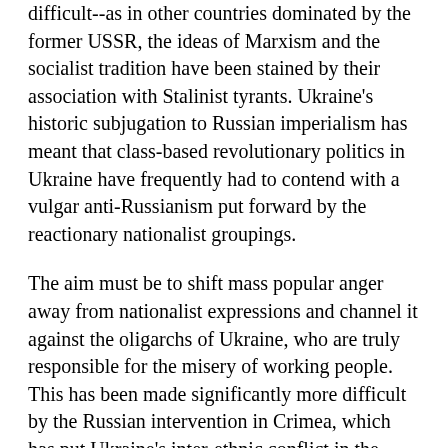difficult--as in other countries dominated by the former USSR, the ideas of Marxism and the socialist tradition have been stained by their association with Stalinist tyrants. Ukraine's historic subjugation to Russian imperialism has meant that class-based revolutionary politics in Ukraine have frequently had to contend with a vulgar anti-Russianism put forward by the reactionary nationalist groupings.
The aim must be to shift mass popular anger away from nationalist expressions and channel it against the oligarchs of Ukraine, who are truly responsible for the misery of working people. This has been made significantly more difficult by the Russian intervention in Crimea, which has put Ukraine's inter-ethnic conflict in the spotlight and feeds into the reactionary nationalism of the far-right parties.
The claims of Russian leaders that they are confronting the fascists and the far right in Ukraine are lies. In reality, the threat of all-out war caused by